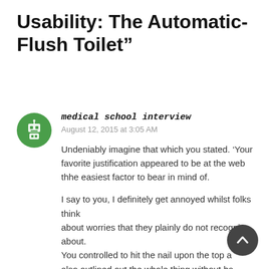Usability: The Automatic-Flush Toilet”
medical school interview
August 12, 2015 at 3:05 AM

Undeniably imagine that which you stated. ‘Your favorite justification appeared to be at the web thhe easiest factor to bear in mind of.

I say to you, I definitely get annoyed whilst folks think about worries that they plainly do not recognize about.
You controlled to hit the nail upon the top and also outlined out the whole thing without having side effects, the other people could take a signal.